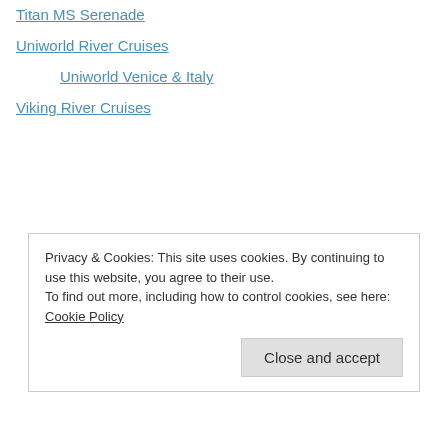Titan MS Serenade
Uniworld River Cruises
Uniworld Venice & Italy
Viking River Cruises
Privacy & Cookies: This site uses cookies. By continuing to use this website, you agree to their use.
To find out more, including how to control cookies, see here: Cookie Policy
Close and accept